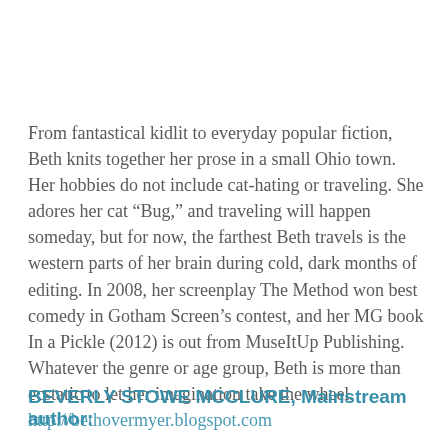From fantastical kidlit to everyday popular fiction, Beth knits together her prose in a small Ohio town. Her hobbies do not include cat-hating or traveling. She adores her cat “Bug,” and traveling will happen someday, but for now, the farthest Beth travels is the western parts of her brain during cold, dark months of editing. In 2008, her screenplay The Method won best comedy in Gotham Screen’s contest, and her MG book In a Pickle (2012) is out from MuseItUp Publishing. Whatever the genre or age group, Beth is more than ecstatic to let her imagination take the wheel. http://bethovermyer.blogspot.com
BEVERLY STOWE MCCLURE, Mainstream author: